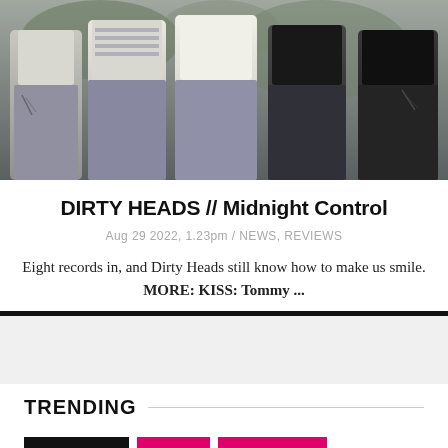[Figure (photo): Band photo showing multiple people standing together, wearing casual clothing including white t-shirts, with tattoos visible on arms, photographed from the torso down]
DIRTY HEADS // Midnight Control
Aug 29 2022, 1.23pm / NEWS, REVIEWS
Eight records in, and Dirty Heads still know how to make us smile. MORE: KISS: Tommy ...
TRENDING
FEATURES
NEWS
REAL TALK